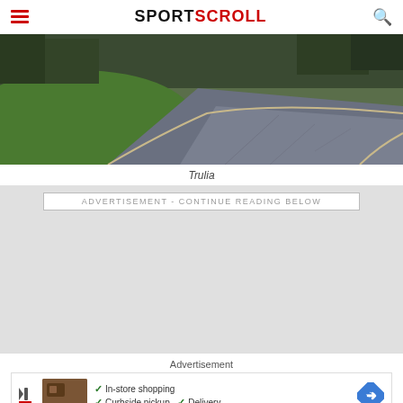SPORTSCROLL
[Figure (photo): Aerial/ground-level view of a curved dark asphalt or concrete driveway/path with green grass on either side, taken at dusk or overcast conditions]
Trulia
ADVERTISEMENT - CONTINUE READING BELOW
[Figure (infographic): Gray advertisement placeholder area]
Advertisement
[Figure (infographic): Bottom advertisement banner showing: In-store shopping, Curbside pickup, Delivery with a blue diamond arrow icon and a store thumbnail image]